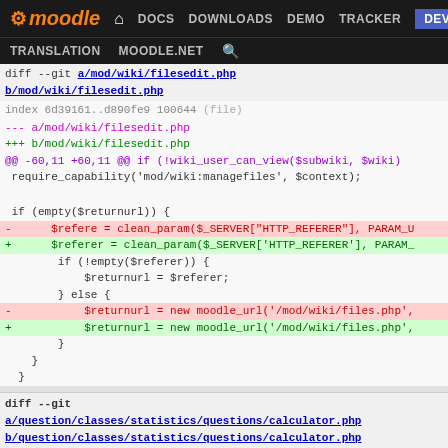moodle DOCS DOWNLOADS DEMO TRACKER DEV TRANSLATION MOODLE.NET
diff --git a/mod/wiki/filesedit.php b/mod/wiki/filesedit.php
index 6d39161..d890fe9 100644 (file)
--- a/mod/wiki/filesedit.php
+++ b/mod/wiki/filesedit.php
@@ -60,11 +60,11 @@ if (!wiki_user_can_view($subwiki, $wiki)
require_capability('mod/wiki:managefiles', $context);
if (empty($returnurl)) {
-      $refere = clean_param($_SERVER["HTTP_REFERER"], PARAM_U
+      $referer = clean_param($_SERVER['HTTP_REFERER'], PARAM_
if (!empty($referer)) {
$returnurl = $referer;
} else {
-           $returnurl = new moodle_url('/mod/wiki/files.php',
+           $returnurl = new moodle_url('/mod/wiki/files.php',
}
}
diff --git a/question/classes/statistics/questions/calculator.php b/question/classes/statistics/questions/calculator.php
index 85c471d..567e6e9 100644 (file)
--- a/question/classes/statics/questions/calculator.php
+++ b/question/classes/statistics/questions/calculator.php